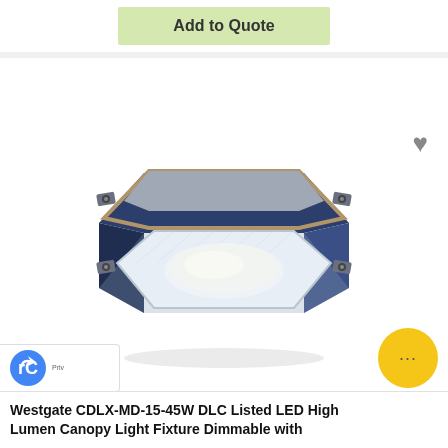Add to Quote
[Figure (photo): Westgate CDLX-MD-15-45W LED High Lumen Canopy Light Fixture — square silver/dark blue metal housing with clear prismatic lens, viewed from below at an angle, showing mounting brackets on all four corners]
Westgate CDLX-MD-15-45W DLC Listed LED High Lumen Canopy Light Fixture Dimmable with